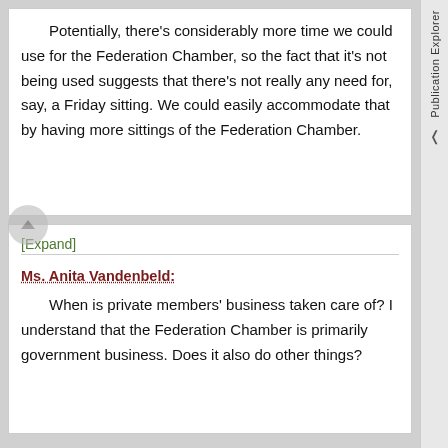Potentially, there's considerably more time we could use for the Federation Chamber, so the fact that it's not being used suggests that there's not really any need for, say, a Friday sitting. We could easily accommodate that by having more sittings of the Federation Chamber.
[Expand]
Ms. Anita Vandenbeld:
When is private members' business taken care of? I understand that the Federation Chamber is primarily government business. Does it also do other things?